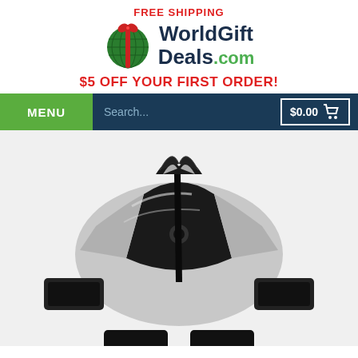FREE SHIPPING
[Figure (logo): WorldGiftDeals.com logo with globe icon and gift bow]
$5 OFF YOUR FIRST ORDER!
[Figure (screenshot): Website navigation bar with MENU button, Search field, and $0.00 cart]
[Figure (photo): Close-up of a black and silver remote control car/vehicle toy]